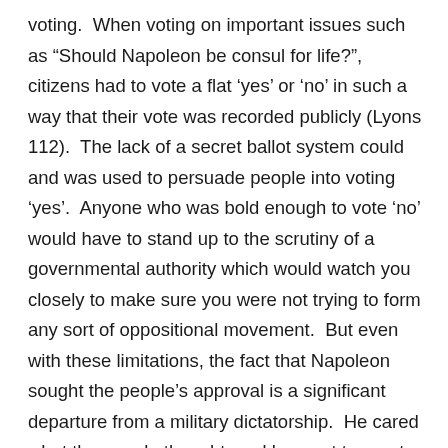voting.  When voting on important issues such as “Should Napoleon be consul for life?”, citizens had to vote a flat ‘yes’ or ‘no’ in such a way that their vote was recorded publicly (Lyons 112).  The lack of a secret ballot system could and was used to persuade people into voting ‘yes’.  Anyone who was bold enough to vote ‘no’ would have to stand up to the scrutiny of a governmental authority which would watch you closely to make sure you were not trying to form any sort of oppositional movement.  But even with these limitations, the fact that Napoleon sought the people’s approval is a significant departure from a military dictatorship.  He cared what the people thought, and he went to great lengths to make himself look good. He even personally communicated with his subjects